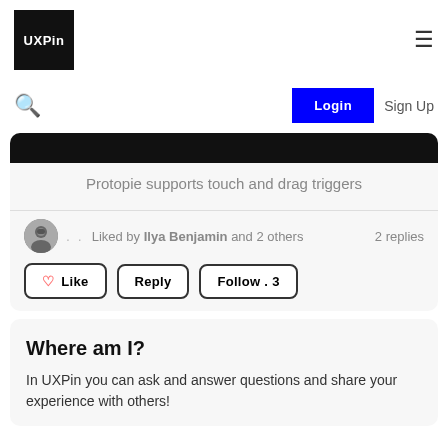UXPin
Login  Sign Up
[Figure (screenshot): Dark image bar at top of card]
Protopie supports touch and drag triggers
Liked by Ilya Benjamin and 2 others   2 replies
Like  Reply  Follow . 3
Where am I?
In UXPin you can ask and answer questions and share your experience with others!